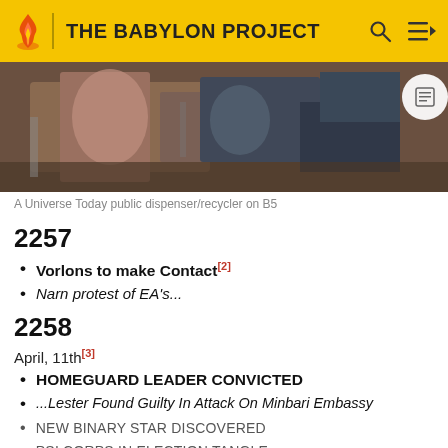THE BABYLON PROJECT
[Figure (photo): A scene from Babylon 5 showing figures near equipment, with a play/reader button overlay in the top right corner.]
A Universe Today public dispenser/recycler on B5
2257
Vorlons to make Contact[2]
Narn protest of EA's...
2258
April, 11th[3]
HOMEGUARD LEADER CONVICTED
...Lester Found Guilty In Attack On Minbari Embassy
NEW BINARY STAR DISCOVERED
PSI CORPS IN ELECTION TANGLE